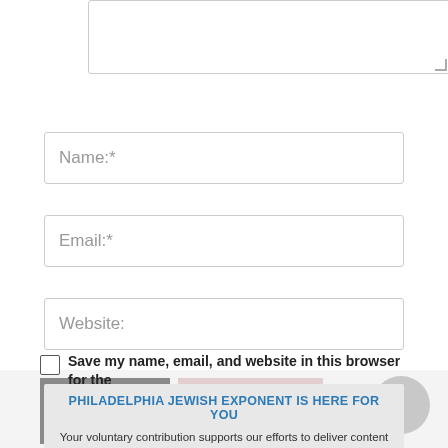[Figure (screenshot): Text area input box (comment field) at top of page, partially visible]
Name:*
Email:*
Website:
Save my name, email, and website in this browser for the next time I comment.
PHILADELPHIA JEWISH EXPONENT IS HERE FOR YOU
Your voluntary contribution supports our efforts to deliver content that engages and helps strengthen the Jewish community in the Philadelphia area.
CONTRIBUTE
[Figure (screenshot): Bristol Riverside logo/image and a pink image thumbnail at the bottom of the page, with reCAPTCHA icon]